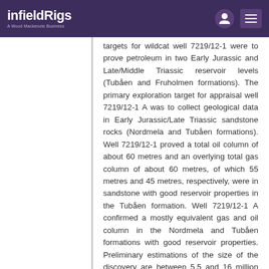infieldRigs — A Wood Mackenzie Business
targets for wildcat well 7219/12-1 were to prove petroleum in two Early Jurassic and Late/Middle Triassic reservoir levels (Tubåen and Fruholmen formations). The primary exploration target for appraisal well 7219/12-1 A was to collect geological data in Early Jurassic/Late Triassic sandstone rocks (Nordmela and Tubåen formations). Well 7219/12-1 proved a total oil column of about 60 metres and an overlying total gas column of about 60 metres, of which 55 metres and 45 metres, respectively, were in sandstone with good reservoir properties in the Tubåen formation. Well 7219/12-1 A confirmed a mostly equivalent gas and oil column in the Nordmela and Tubåen formations with good reservoir properties. Preliminary estimations of the size of the discovery are between 5.5 and 16 million standard cubic metres (Sm3) of recoverable oil equivalents. Further delineation and production testing of the discovery will be assessed. The wells were not production tested.